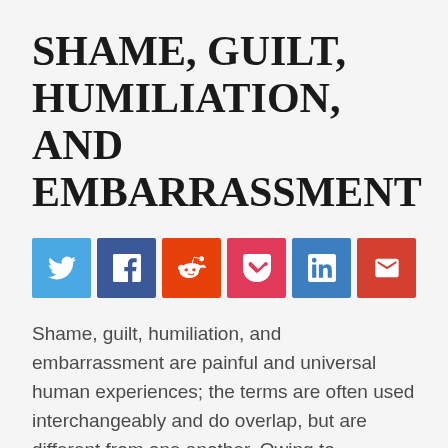SHAME, GUILT, HUMILIATION, AND EMBARRASSMENT
[Figure (infographic): Social sharing buttons: Twitter (blue), Facebook (dark blue), Reddit (orange), Pocket (pink-red), LinkedIn (blue), Email (red-orange)]
Shame, guilt, humiliation, and embarrassment are painful and universal human experiences; the terms are often used interchangeably and do overlap, but are different from one another. Owing to differences in culture, religion, ethics, and personal standards, we experience them differently to even similar others in our social sphere, and certainly to people in other cultures. In this post and a follow-up one, we will be examining these often hidden emotions, with an eye to disentangling them from one another (in this post) and then seeing how we can best respond therapeutically (in